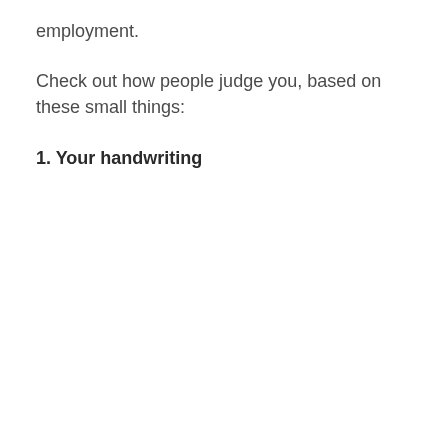employment.
Check out how people judge you, based on these small things:
1. Your handwriting